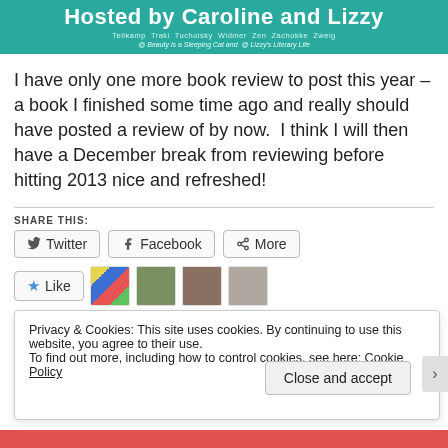[Figure (illustration): Teal banner reading 'Hosted by Caroline and Lizzy' with subtitle author names and tagline '@ Beauty is a Sleeping Cat and @ Lizzy's Literary Life']
I have only one more book review to post this year – a book I finished some time ago and really should have posted a review of by now.  I think I will then have a December break from reviewing before hitting 2013 nice and refreshed!
SHARE THIS:
Twitter   Facebook   More
Like
Privacy & Cookies: This site uses cookies. By continuing to use this website, you agree to their use.
To find out more, including how to control cookies, see here: Cookie Policy
Close and accept